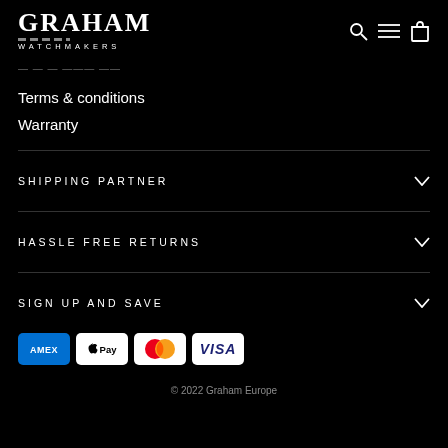GRAHAM WATCHMAKERS
Legal notices
Terms & conditions
Warranty
SHIPPING PARTNER
HASSLE FREE RETURNS
SIGN UP AND SAVE
[Figure (other): Payment method icons: American Express, Apple Pay, Mastercard, Visa]
© 2022 Graham Europe